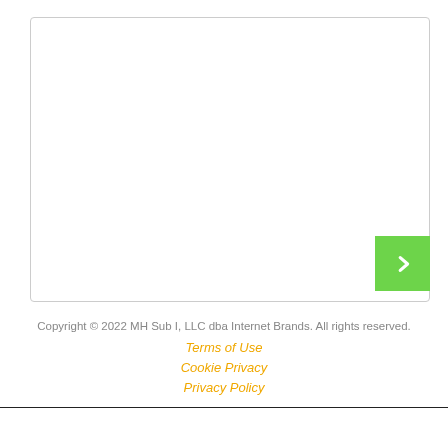[Figure (other): White card/content area with border and a green arrow button on the right side]
Copyright © 2022 MH Sub I, LLC dba Internet Brands. All rights reserved.
Terms of Use
Cookie Privacy
Privacy Policy